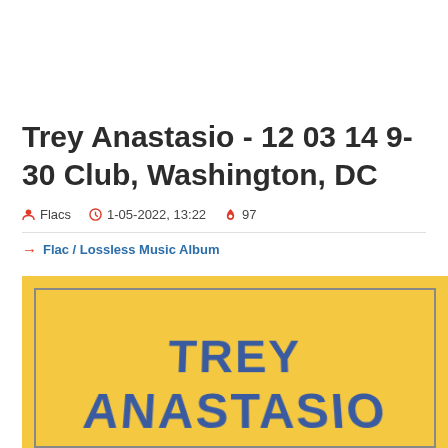Trey Anastasio - 12 03 14 9-30 Club, Washington, DC
Flacs   1-05-2022, 13:22   97
Flac / Lossless Music Album
[Figure (photo): Album cover with yellow/orange background and blue bold text reading TREY ANASTASIO, with a decorative border frame]